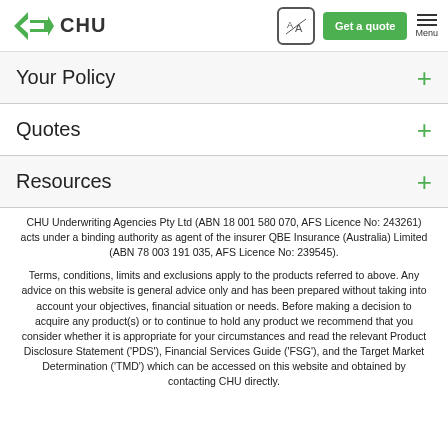CHU — Get a quote — Menu
Your Policy
Quotes
Resources
CHU Underwriting Agencies Pty Ltd (ABN 18 001 580 070, AFS Licence No: 243261) acts under a binding authority as agent of the insurer QBE Insurance (Australia) Limited (ABN 78 003 191 035, AFS Licence No: 239545).
Terms, conditions, limits and exclusions apply to the products referred to above. Any advice on this website is general advice only and has been prepared without taking into account your objectives, financial situation or needs. Before making a decision to acquire any product(s) or to continue to hold any product we recommend that you consider whether it is appropriate for your circumstances and read the relevant Product Disclosure Statement ('PDS'), Financial Services Guide ('FSG'), and the Target Market Determination ('TMD') which can be accessed on this website and obtained by contacting CHU directly.